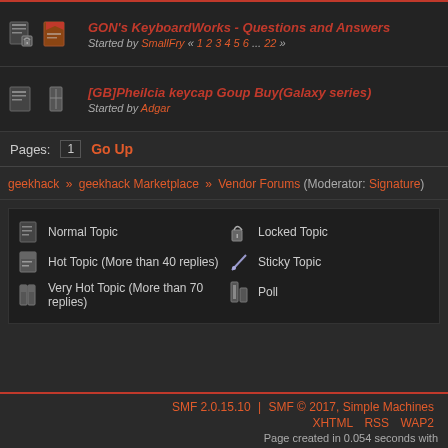GON's KeyboardWorks - Questions and Answers. Started by SmallFry « 1 2 3 4 5 6 ... 22 »
[GB]Pheilcia keycap Goup Buy(Galaxy series). Started by Adgar
Pages: [1]  Go Up
geekhack » geekhack Marketplace » Vendor Forums (Moderator: Signature)
Normal Topic | Hot Topic (More than 40 replies) | Very Hot Topic (More than 70 replies) | Locked Topic | Sticky Topic | Poll
SMF 2.0.15.10 | SMF © 2017, Simple Machines  XHTML  RSS  WAP2  Page created in 0.054 seconds with